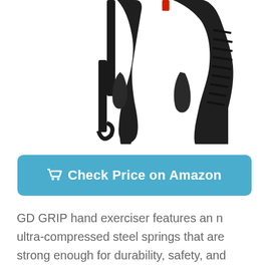[Figure (photo): Two black hand grip exercisers side by side. The left one has a wrist strap attached. Both have textured ridged handles and trigger-style grips on a white background.]
Check Price on Amazon
GD GRIP hand exerciser features an n ultra-compressed steel springs that are strong enough for durability, safety, and damage resistance. It also features plastics that are super strong and hard for